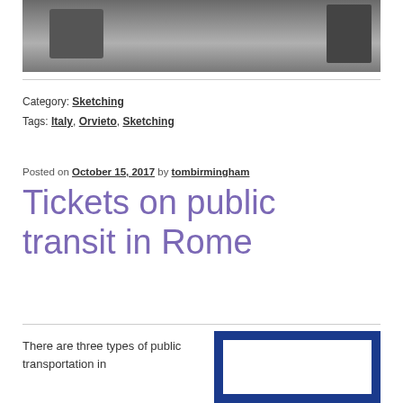[Figure (photo): Partial photo cropped at top of page showing objects on a surface, dark and grey tones]
Category: Sketching
Tags: Italy, Orvieto, Sketching
Posted on October 15, 2017 by tombirmingham
Tickets on public transit in Rome
There are three types of public transportation in
[Figure (photo): Partial photo of a blue card or ticket with white rectangle in center, cropped at bottom of page]